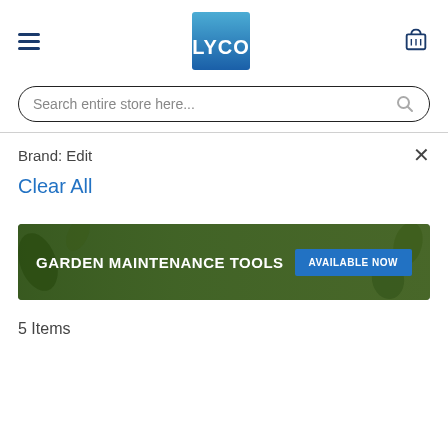LYCO logo, hamburger menu, cart icon
Search entire store here...
Brand: Edit
Clear All
[Figure (illustration): Banner advertisement: dark garden background with text 'GARDEN MAINTENANCE TOOLS' in bold white and a blue button labeled 'AVAILABLE NOW']
5 Items